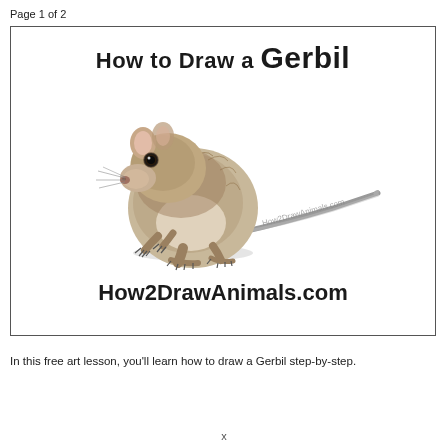Page 1 of 2
How to Draw a Gerbil
[Figure (illustration): Pencil sketch illustration of a gerbil sitting upright with its long tail extending to the right, with a watermark reading How2DrawAnimals.com]
How2DrawAnimals.com
In this free art lesson, you'll learn how to draw a Gerbil step-by-step.
x